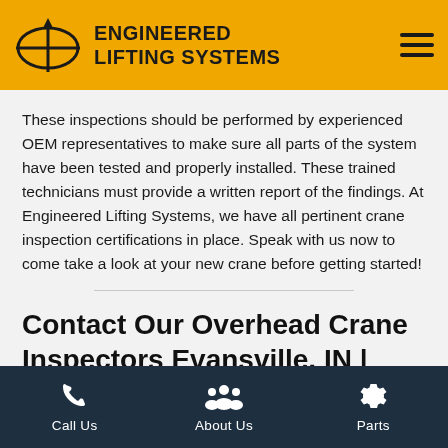ENGINEERED LIFTING SYSTEMS
These inspections should be performed by experienced OEM representatives to make sure all parts of the system have been tested and properly installed. These trained technicians must provide a written report of the findings. At Engineered Lifting Systems, we have all pertinent crane inspection certifications in place. Speak with us now to come take a look at your new crane before getting started!
Contact Our Overhead Crane Inspectors Evansville, IN | Engineered Lifting Systems
Let our overhead crane inspectors take a look at your system now! Since 2004, we have been providing industries in Evansville with
Call Us  About Us  Parts